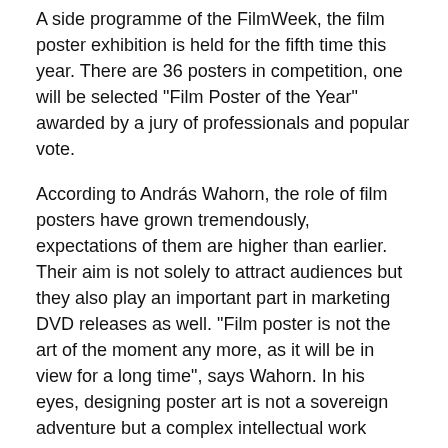A side programme of the FilmWeek, the film poster exhibition is held for the fifth time this year. There are 36 posters in competition, one will be selected "Film Poster of the Year" awarded by a jury of professionals and popular vote.
According to András Wahorn, the role of film posters have grown tremendously, expectations of them are higher than earlier. Their aim is not solely to attract audiences but they also play an important part in marketing DVD releases as well. "Film poster is not the art of the moment any more, as it will be in view for a long time", says Wahorn. In his eyes, designing poster art is not a sovereign adventure but a complex intellectual work representing different interests.
On the producers' meeting popular movie scribe Réka Divinyi told the audience about screenplay development workshop Dr Script. She founded the company with László Czető Bernát and András Szekér. Anyone wishing to get professional coverage of a script may send it to them. Upon request they participate in the development of the screenplay and help the author to create a script that...